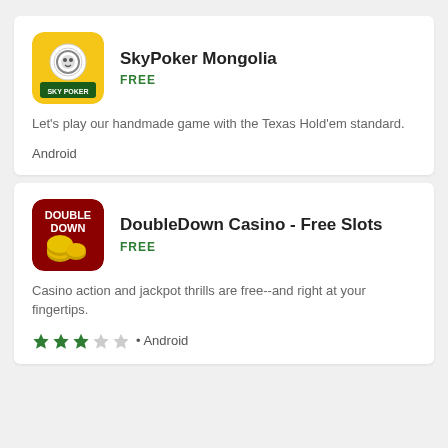[Figure (logo): SkyPoker Mongolia app icon — yellow background with poker chip and SKY POKER text]
SkyPoker Mongolia
FREE
Let's play our handmade game with the Texas Hold'em standard.
Android
[Figure (logo): DoubleDown Casino app icon — dark red/maroon background with DOUBLE DOWN text and gold coins]
DoubleDown Casino - Free Slots
FREE
Casino action and jackpot thrills are free--and right at your fingertips.
★★★☆☆ • Android